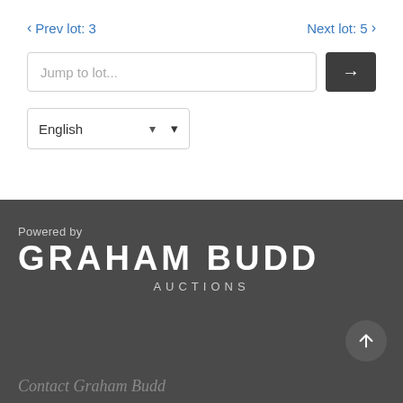Prev lot: 3
Next lot: 5
Jump to lot...
English
Powered by
GRAHAM BUDD
AUCTIONS
Contact Graham Budd